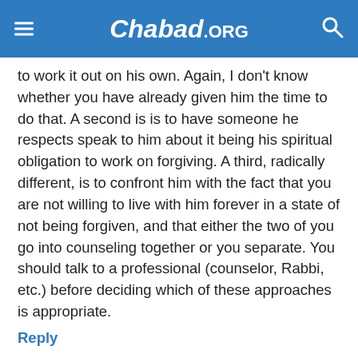Chabad.ORG
to work it out on his own. Again, I don't know whether you have already given him the time to do that. A second is is to have someone he respects speak to him about it being his spiritual obligation to work on forgiving. A third, radically different, is to confront him with the fact that you are not willing to live with him forever in a state of not being forgiven, and that either the two of you go into counseling together or you separate. You should talk to a professional (counselor, Rabbi, etc.) before deciding which of these approaches is appropriate.
Reply
Anonymous Edmonton, AB April 3, 2008 Intense hurt